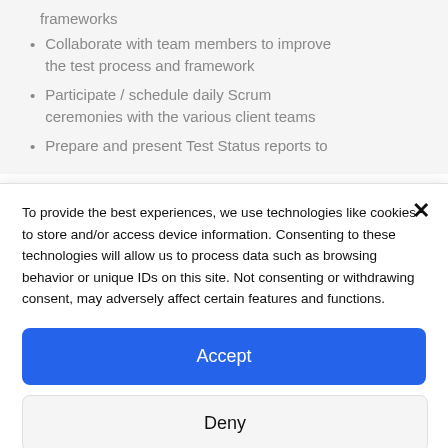frameworks
Collaborate with team members to improve the test process and framework
Participate / schedule daily Scrum ceremonies with the various client teams
Prepare and present Test Status reports to
To provide the best experiences, we use technologies like cookies to store and/or access device information. Consenting to these technologies will allow us to process data such as browsing behavior or unique IDs on this site. Not consenting or withdrawing consent, may adversely affect certain features and functions.
Accept
Deny